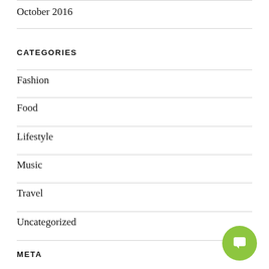October 2016
CATEGORIES
Fashion
Food
Lifestyle
Music
Travel
Uncategorized
META